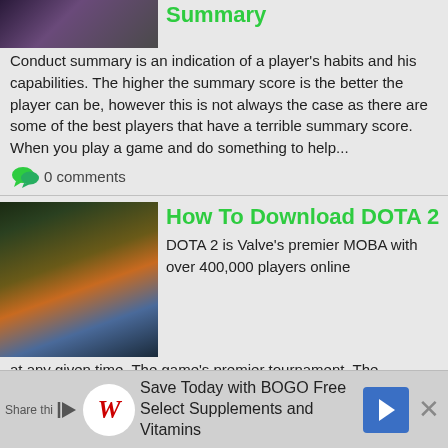[Figure (screenshot): Game screenshot thumbnail - dark fantasy art]
Summary
Conduct summary is an indication of a player's habits and his capabilities. The higher the summary score is the better the player can be, however this is not always the case as there are some of the best players that have a terrible summary score. When you play a game and do something to help...
0 comments
[Figure (screenshot): DOTA 2 landscape game scene - river and forest at sunset]
How To Download DOTA 2
DOTA 2 is Valve's premier MOBA with over 400,000 players online at any given time. The game's premier tournament, The International, has the biggest prize pool in eSports at over $40 million. The game's got a huge player base, insane competitive presence, and is just super fun.  But how do...
0 comments
[Figure (screenshot): Dota 2 game screenshot - partial third article]
[Top 10] Dota 2 Best...
[Figure (infographic): Advertisement bar: Save Today with BOGO Free Select Supplements and Vitamins - Walgreens]